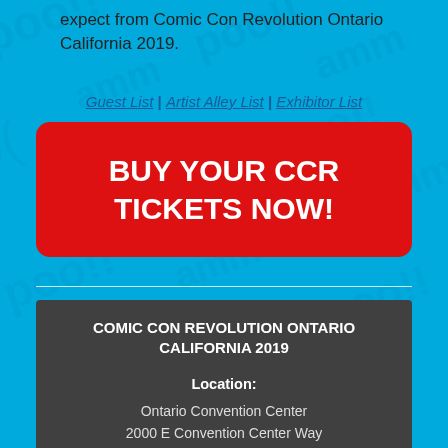expect from Comic Con Revolution Ontario California 2019.
Guest List | Artist Alley List | Exhibitor List
[Figure (other): Red rounded-rectangle button with white bold uppercase text: BUY YOUR CCR TICKETS NOW!]
COMIC CON REVOLUTION ONTARIO CALIFORNIA 2019
Location:
Ontario Convention Center
2000 E Convention Center Way
Ontario, CA 91764